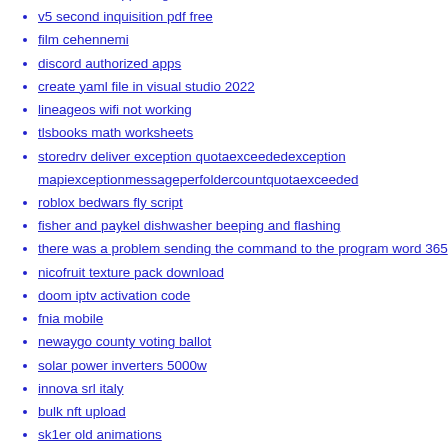rhona mitra fappening
v5 second inquisition pdf free
film cehennemi
discord authorized apps
create yaml file in visual studio 2022
lineageos wifi not working
tlsbooks math worksheets
storedrv deliver exception quotaexceededexception mapiexceptionmessageperfoldercountquotaexceeded
roblox bedwars fly script
fisher and paykel dishwasher beeping and flashing
there was a problem sending the command to the program word 365
nicofruit texture pack download
doom iptv activation code
fnia mobile
newaygo county voting ballot
solar power inverters 5000w
innova srl italy
bulk nft upload
sk1er old animations
little teen girls naked
huge topless boobs
ati bios patcher
download ckeditor plugins